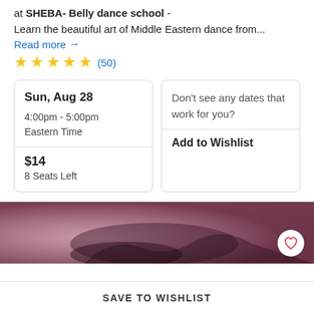at SHEBA- Belly dance school -
Learn the beautiful art of Middle Eastern dance from...
Read more →
★★★★★ (50)
Sun, Aug 28
4:00pm - 5:00pm
Eastern Time
$14
8 Seats Left
Don't see any dates that work for you?
Add to Wishlist
[Figure (photo): Photo strip of belly dance, partially visible, with a heart/wishlist button overlay]
SAVE TO WISHLIST